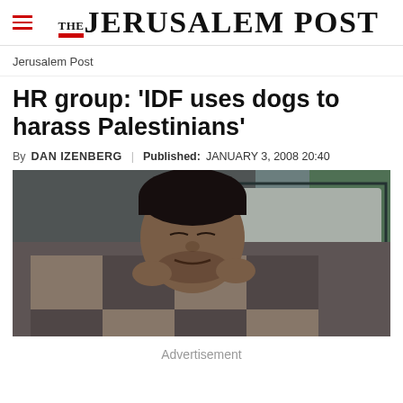THE JERUSALEM POST
Jerusalem Post
HR group: 'IDF uses dogs to harass Palestinians'
By DAN IZENBERG   Published: JANUARY 3, 2008 20:40
[Figure (photo): A man lying in a hospital bed, looking distressed, pulling a blanket up to his chin]
Advertisement